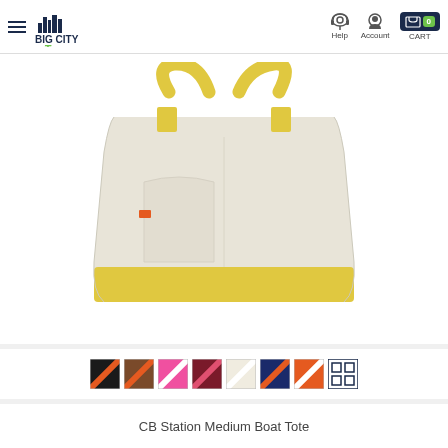Big City Tees — Help | Account | CART 0
[Figure (photo): A canvas tote bag (CB Station Medium Boat Tote) with a cream/natural body and yellow handles and bottom trim, with a small orange label on the left side.]
[Figure (infographic): Color swatch options for the tote bag: black/orange stripe, brown/orange stripe, pink/white stripe, maroon/pink stripe, cream/white stripe, navy/orange stripe, orange/white stripe, and a grid/all-colors option.]
CB Station Medium Boat Tote